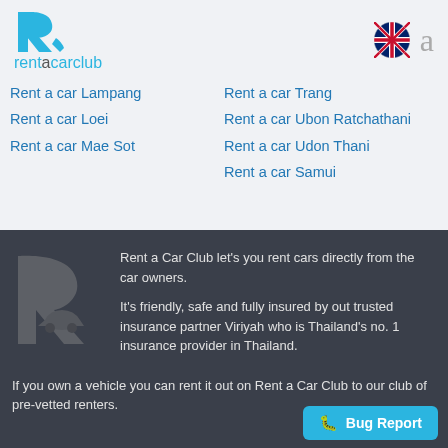[Figure (logo): Rent a Car Club logo with cyan R icon and text rentacarclub]
[Figure (logo): UK flag icon and letter 'a' for language selector]
Rent a car Lampang
Rent a car Loei
Rent a car Mae Sot
Rent a car Trang
Rent a car Ubon Ratchathani
Rent a car Udon Thani
Rent a car Samui
[Figure (logo): Large grey Rent a Car Club R logo watermark on dark background]
Rent a Car Club let's you rent cars directly from the car owners.
It's friendly, safe and fully insured by out trusted insurance partner Viriyah who is Thailand's no. 1 insurance provider in Thailand.
If you own a vehicle you can rent it out on Rent a Car Club to our club of pre-vetted renters.